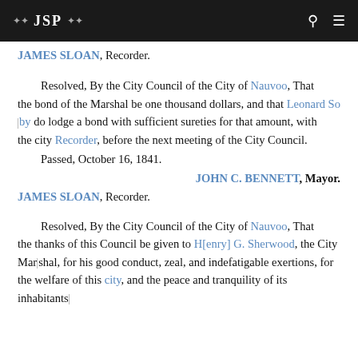JSP
JAMES SLOAN, Recorder.
Resolved, By the City Council of the City of Nauvoo, That the bond of the Marshal be one thousand dollars, and that Leonard Soby do lodge a bond with sufficient sureties for that amount, with the city Recorder, before the next meeting of the City Council.
Passed, October 16, 1841.
JOHN C. BENNETT, Mayor.
JAMES SLOAN, Recorder.
Resolved, By the City Council of the City of Nauvoo, That the thanks of this Council be given to H[enry] G. Sherwood, the City Marshal, for his good conduct, zeal, and indefatigable exertions, for the welfare of this city, and the peace and tranquility of its inhabitants